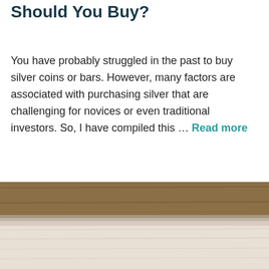Silver Bars vs Coins: Which Should You Buy?
You have probably struggled in the past to buy silver coins or bars. However, many factors are associated with purchasing silver that are challenging for novices or even traditional investors. So, I have compiled this … Read more
[Figure (photo): Partial view of what appears to be silver bars or coins on a wooden surface, photo cropped at bottom of page]